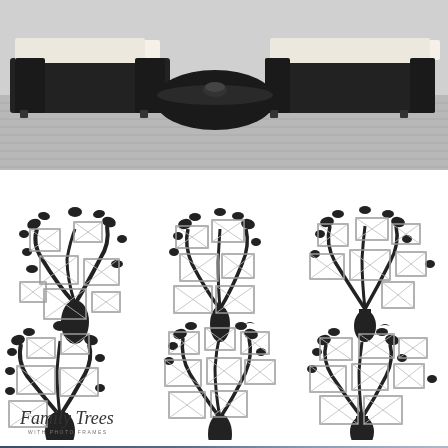[Figure (photo): Outdoor patio furniture: black wicker sectional sofa with white cushions and a curved black wicker coffee table on a grey deck]
[Figure (illustration): Six family tree silhouettes with photo frame placeholders arranged in a 3x2 grid, with a 'Family Trees with Photo Frames' logo in the bottom left]
[Figure (illustration): Bottom bar/footer strip in blue-grey gradient]